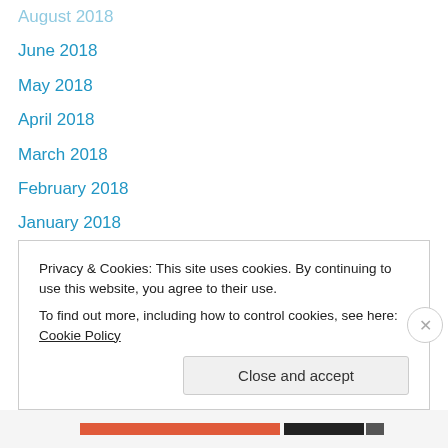August 2018
June 2018
May 2018
April 2018
March 2018
February 2018
January 2018
December 2017
November 2017
July 2017
June 2017
May 2017
April 2017
March 2017
Privacy & Cookies: This site uses cookies. By continuing to use this website, you agree to their use.
To find out more, including how to control cookies, see here: Cookie Policy